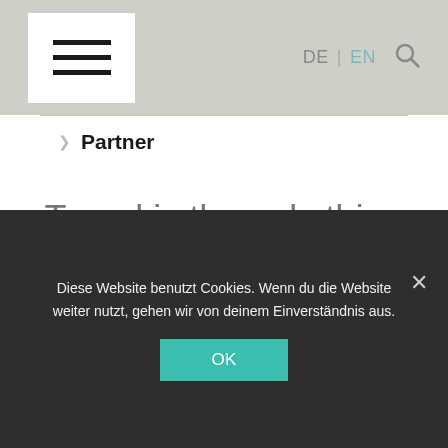≡  DE | EN 🔍
> Partner
Travel is the only thing you buy, that makes you richer!
Diese Website benutzt Cookies. Wenn du die Website weiter nutzt, gehen wir von deinem Einverständnis aus.